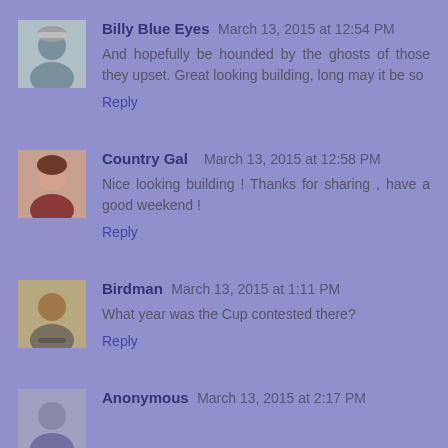Billy Blue Eyes  March 13, 2015 at 12:54 PM
And hopefully be hounded by the ghosts of those they upset. Great looking building, long may it be so
Reply
Country Gal  March 13, 2015 at 12:58 PM
Nice looking building ! Thanks for sharing , have a good weekend !
Reply
Birdman  March 13, 2015 at 1:11 PM
What year was the Cup contested there?
Reply
Anonymous  March 13, 2015 at 2:17 PM